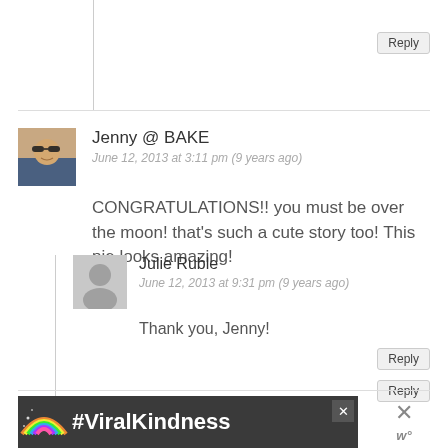Reply
Jenny @ BAKE
June 12, 2013 at 3:11 pm (9 years ago)
CONGRATULATIONS!! you must be over the moon! that's such a cute story too! This pie looks amazing!
Reply
Julie Ruble
June 12, 2013 at 9:31 pm (9 years ago)
Thank you, Jenny!
Reply
[Figure (other): Advertisement banner with rainbow illustration and text #ViralKindness on dark background]